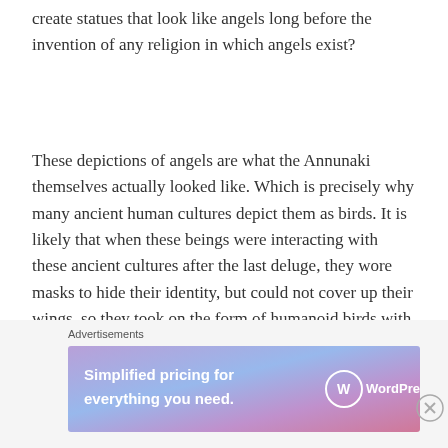create statues that look like angels long before the invention of any religion in which angels exist?
These depictions of angels are what the Annunaki themselves actually looked like. Which is precisely why many ancient human cultures depict them as birds. It is likely that when these beings were interacting with these ancient cultures after the last deluge, they wore masks to hide their identity, but could not cover up their wings, so they took on the form of humanoid birds with their masks. However better to make a primitive race believe you to be a god?
Advertisements
[Figure (illustration): WordPress.com advertisement banner with gradient purple-blue background. Text reads 'Simplified pricing for everything you need.' with WordPress.com logo on the right.]